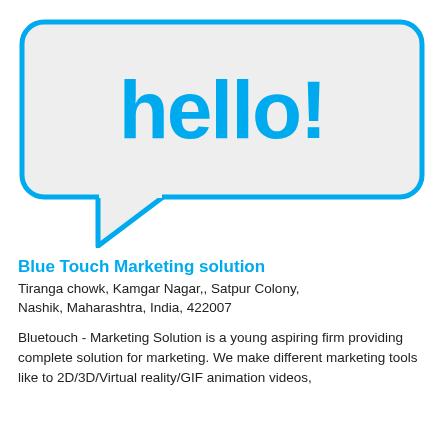[Figure (illustration): Speech bubble / chat bubble graphic with light grey fill and cyan/blue border, containing the text 'hello!' in large bold cyan font]
Blue Touch Marketing solution
Tiranga chowk, Kamgar Nagar,, Satpur Colony, Nashik, Maharashtra, India, 422007
Bluetouch - Marketing Solution is a young aspiring firm providing complete solution for marketing. We make different marketing tools like to 2D/3D/Virtual reality/GIF animation videos,